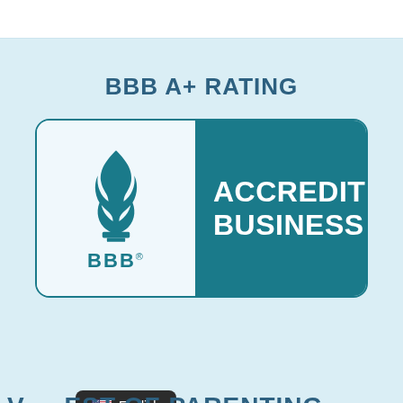BBB A+ RATING
[Figure (logo): BBB Accredited Business badge/logo with torch flame icon on left white panel and 'ACCREDITED BUSINESS' text on right teal panel]
[Figure (infographic): Language selector badge showing US flag and 'English' text on dark background]
...EST OF PARENTING